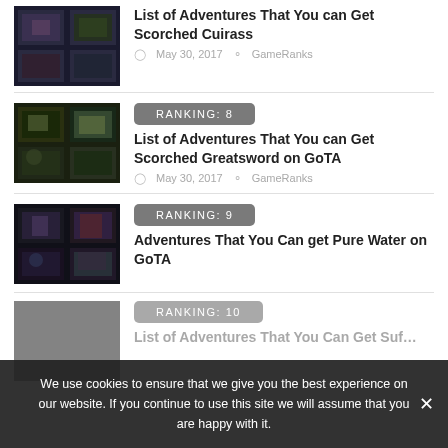[Figure (screenshot): Game screenshot thumbnail for Scorched Cuirass article]
List of Adventures That You can Get Scorched Cuirass
May 30, 2017  GameRanks
[Figure (screenshot): Game screenshot thumbnail for Scorched Greatsword article]
RANKING: 8
List of Adventures That You can Get Scorched Greatsword on GoTA
May 30, 2017  GameRanks
[Figure (screenshot): Game screenshot thumbnail for Pure Water article]
RANKING: 9
Adventures That You Can get Pure Water on GoTA
[Figure (screenshot): Game screenshot thumbnail for ranking 10 article (dimmed)]
RANKING: 10
List of Adventures That You Can Get Suf…
We use cookies to ensure that we give you the best experience on our website. If you continue to use this site we will assume that you are happy with it.